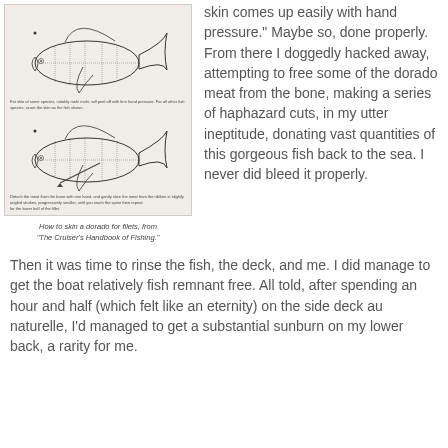[Figure (illustration): Two diagrams from 'The Cruiser's Handbook of Fishing' showing how to skin a dorado for filets. Top diagram shows a fish with lines indicating cut locations. Bottom diagram shows a similar fish with a knife illustration and additional annotation lines.]
How to skin a dorado for filets, from "The Cruiser's Handbook of Fishing."
skin comes up easily with hand pressure." Maybe so, done properly.  From there I doggedly hacked away, attempting to free some of the dorado meat from the bone, making a series of haphazard cuts, in my utter ineptitude, donating vast quantities of this gorgeous fish back to the sea.  I never did bleed it properly.
Then it was time to rinse the fish, the deck, and me. I did manage to get the boat relatively fish remnant free. All told, after spending an hour and half (which felt like an eternity) on the side deck au naturelle, I'd managed to get a substantial sunburn on my lower back, a rarity for me.